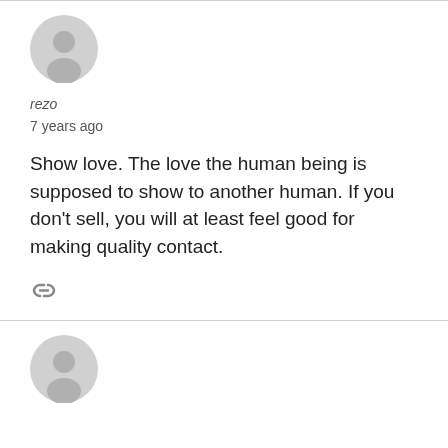[Figure (illustration): Generic user avatar icon — grey silhouette of a person in a circle]
rezo
7 years ago
Show love. The love the human being is supposed to show to another human. If you don't sell, you will at least feel good for making quality contact.
[Figure (illustration): Link/chain icon in grey]
[Figure (illustration): Generic user avatar icon — grey silhouette of a person in a circle]